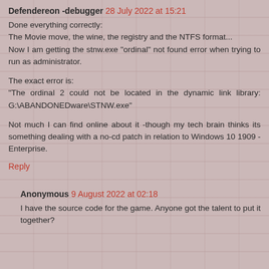Defendereon -debugger 28 July 2022 at 15:21
Done everything correctly:
The Movie move, the wine, the registry and the NTFS format...
Now I am getting the stnw.exe "ordinal" not found error when trying to run as administrator.

The exact error is:
"The ordinal 2 could not be located in the dynamic link library: G:\ABANDONEDware\STNW.exe"

Not much I can find online about it -though my tech brain thinks its something dealing with a no-cd patch in relation to Windows 10 1909 -Enterprise.
Reply
Anonymous 9 August 2022 at 02:18
I have the source code for the game. Anyone got the talent to put it together?